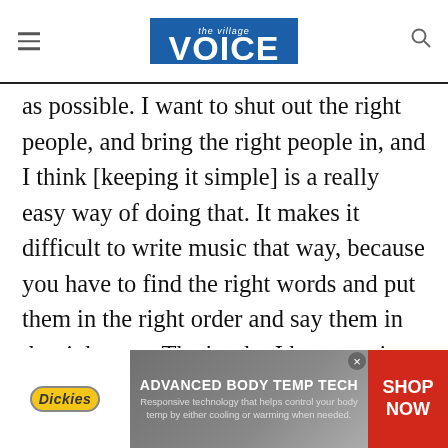the Village VOICE
as possible. I want to shut out the right people, and bring the right people in, and I think [keeping it simple] is a really easy way of doing that. It makes it difficult to write music that way, because you have to find the right words and put them in the right order and say them in the right way. That’s why I keep putting out EPs. When I do write, it’s a weird, dedicated thing where I write an entire book of random words at two a.m. and sleep until four, then I go back to that book and pull out certain words
[Figure (infographic): Dickies advertisement banner: 'ADVANCED BODY TEMP TECH - Responsive technology that helps control your body temp by either cooling or warming when needed. SHOP NOW']